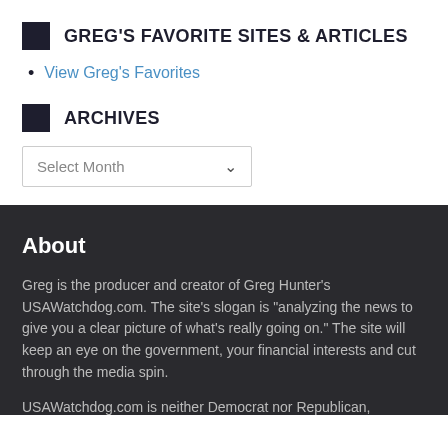GREG'S FAVORITE SITES & ARTICLES
View Greg's Favorites
ARCHIVES
Select Month
About
Greg is the producer and creator of Greg Hunter's USAWatchdog.com. The site's slogan is "analyzing the news to give you a clear picture of what's really going on." The site will keep an eye on the government, your financial interests and cut through the media spin.
USAWatchdog.com is neither Democrat nor Republican,